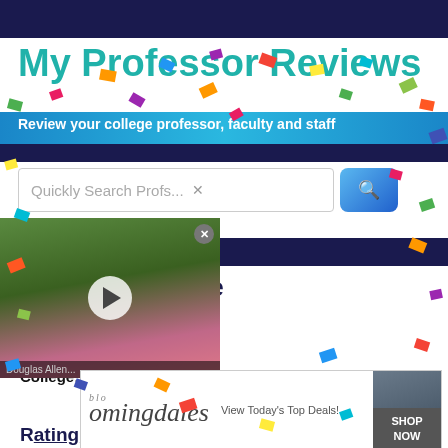My Professor Reviews
Review your college professor, faculty and staff
[Figure (screenshot): Search box with placeholder 'Quickly Search Profs...' and blue search button]
[Figure (photo): Video thumbnail showing a young woman with a play button overlay]
...ersity of Maine
Professor: Douglas Allen
Department: Philosophy
College:
[Figure (screenshot): Bloomingdale's advertisement - View Today's Top Deals! with SHOP NOW button]
Rating